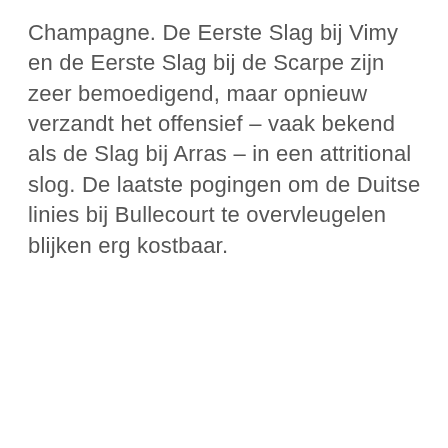Champagne. De Eerste Slag bij Vimy en de Eerste Slag bij de Scarpe zijn zeer bemoedigend, maar opnieuw verzandt het offensief – vaak bekend als de Slag bij Arras – in een attritional slog. De laatste pogingen om de Duitse linies bij Bullecourt te overvleugelen blijken erg kostbaar.